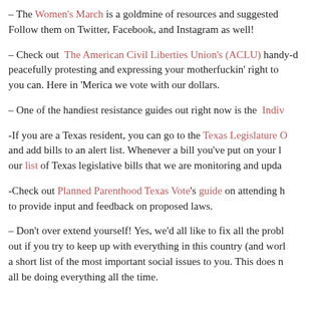– The Women's March is a goldmine of resources and suggested Follow them on Twitter, Facebook, and Instagram as well!
– Check out The American Civil Liberties Union's (ACLU) handy-d peacefully protesting and expressing your motherfuckin' right to you can. Here in 'Merica we vote with our dollars.
– One of the handiest resistance guides out right now is the Indiv
-If you are a Texas resident, you can go to the Texas Legislature O and add bills to an alert list. Whenever a bill you've put on your l our list of Texas legislative bills that we are monitoring and upda
-Check out Planned Parenthood Texas Vote's guide on attending h to provide input and feedback on proposed laws.
– Don't over extend yourself! Yes, we'd all like to fix all the probl out if you try to keep up with everything in this country (and worl a short list of the most important social issues to you. This does n all be doing everything all the time.